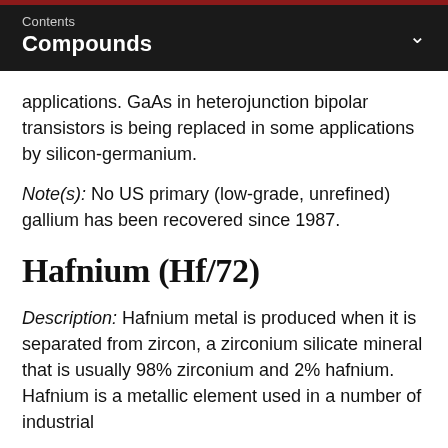Contents
Compounds
applications. GaAs in heterojunction bipolar transistors is being replaced in some applications by silicon-germanium.
Note(s): No US primary (low-grade, unrefined) gallium has been recovered since 1987.
Hafnium (Hf/72)
Description: Hafnium metal is produced when it is separated from zircon, a zirconium silicate mineral that is usually 98% zirconium and 2% hafnium. Hafnium is a metallic element used in a number of industrial